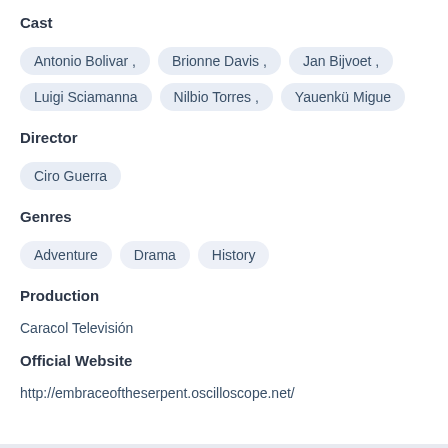Cast
Antonio Bolivar , Brionne Davis , Jan Bijvoet , Luigi Sciamanna , Nilbio Torres , Yauenkü Migue
Director
Ciro Guerra
Genres
Adventure  Drama  History
Production
Caracol Televisión
Official Website
http://embraceoftheserpent.oscilloscope.net/